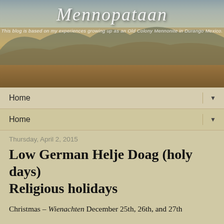[Figure (photo): Blog header banner with cursive/italic blog title text and subtitle over a sepia-toned landscape photo of arid Mexican terrain with sparse trees and mountains in the background]
This blog is based on my experiences growing up as an Old Colony Mennonite in Durango Mexico.
Home ▼
Home ▼
Thursday, April 2, 2015
Low German Helje Doag (holy days) Religious holidays
Christmas – Wienachten December 25th, 26th, and 27th
Epiphany – Helje Dree Kjeenijch (Day of the Three Holly Wise Men) January 6